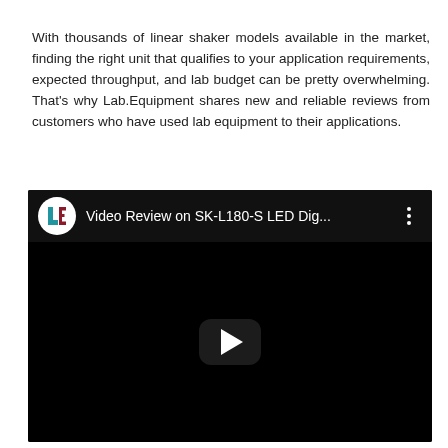With thousands of linear shaker models available in the market, finding the right unit that qualifies to your application requirements, expected throughput, and lab budget can be pretty overwhelming. That's why Lab.Equipment shares new and reliable reviews from customers who have used lab equipment to their applications.
[Figure (screenshot): YouTube-style embedded video player with Lab.Equipment logo, title 'Video Review on SK-L180-S LED Dig...' and a play button centered on a black background.]